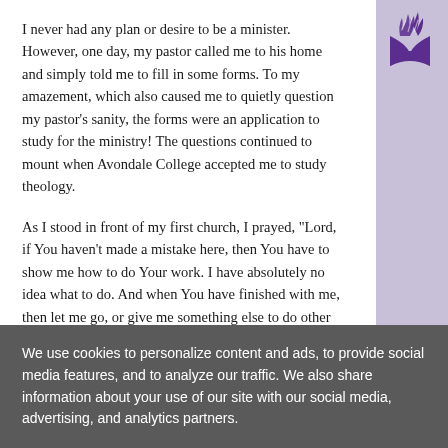I never had any plan or desire to be a minister. However, one day, my pastor called me to his home and simply told me to fill in some forms. To my amazement, which also caused me to quietly question my pastor's sanity, the forms were an application to study for the ministry! The questions continued to mount when Avondale College accepted me to study theology.
[Figure (logo): Seventh-day Adventist Church flame/book logo in purple]
As I stood in front of my first church, I prayed, "Lord, if You haven't made a mistake here, then You have to show me how to do Your work. I have absolutely no idea what to do. And when You have finished with me, then let me go, or give me something else to do other than being a minister!" Year after year, God did exactly that.
But when the doctor said, "You have cancer," my prayer
We use cookies to personalize content and ads, to provide social media features, and to analyze our traffic. We also share information about your use of our site with our social media, advertising, and analytics partners.